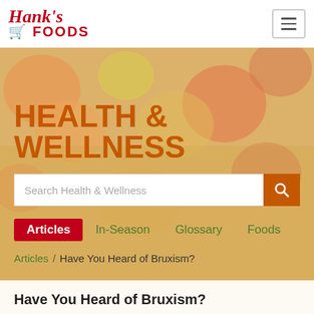Hank's FOODS
HEALTH & WELLNESS
Search Health & Wellness
Articles  In-Season  Glossary  Foods
Articles / Have You Heard of Bruxism?
Have You Heard of Bruxism?
You may not have heard of the medical term "bruxism" before now but chances are you know what it is... teeth grinding. Many people, both children and adults,